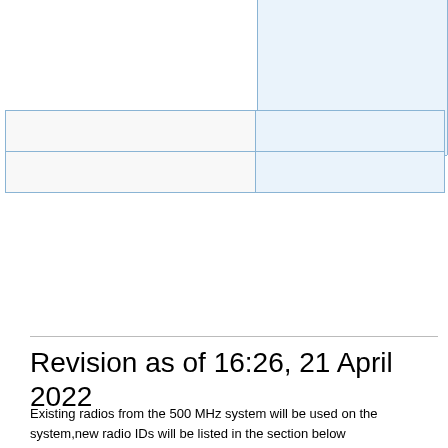|  |  |
|  |  |
|  |  |
|  |  |
Revision as of 16:26, 21 April 2022
Existing radios from the 500 MHz system will be used on the system,new radio IDs will be listed in the section below
Contents
1 EMS Coordinators
2 Barnegat Light First Aid Squad